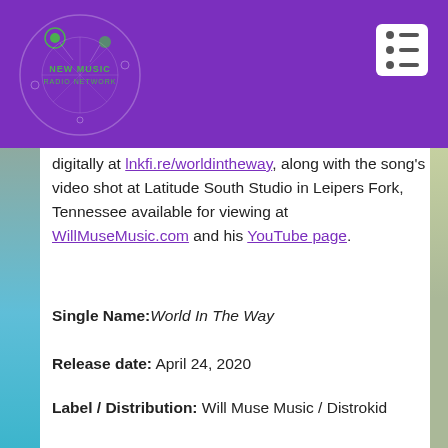[Figure (logo): New Music Radio Network logo: circular graphic with purple background, green dots, and text 'NEW MUSIC RADIO NETWORK' in green]
digitally at lnkfi.re/worldintheway, along with the song's video shot at Latitude South Studio in Leipers Fork, Tennessee available for viewing at WillMuseMusic.com and his YouTube page.
Single Name: World In The Way
Release date: April 24, 2020
Label / Distribution: Will Muse Music / Distrokid
ISRC: QZDA82000872
Produced by: Britton Cameron